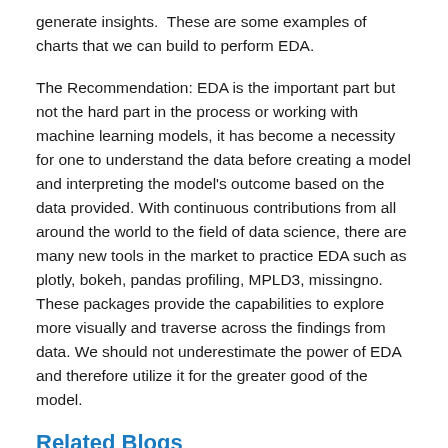generate insights.  These are some examples of charts that we can build to perform EDA.
The Recommendation: EDA is the important part but not the hard part in the process or working with machine learning models, it has become a necessity for one to understand the data before creating a model and interpreting the model's outcome based on the data provided. With continuous contributions from all around the world to the field of data science, there are many new tools in the market to practice EDA such as plotly, bokeh, pandas profiling, MPLD3, missingno. These packages provide the capabilities to explore more visually and traverse across the findings from data. We should not underestimate the power of EDA and therefore utilize it for the greater good of the model.
Related Blogs